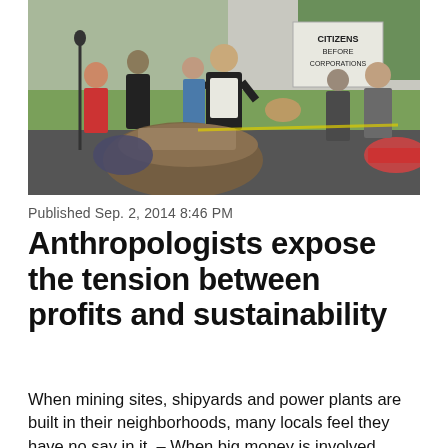[Figure (photo): Outdoor protest scene with people gathered; a woman holds a sign reading 'CITIZENS BEFORE CORPORATIONS'; other protesters visible in the foreground and background]
Published Sep. 2, 2014 8:46 PM
Anthropologists expose the tension between profits and sustainability
When mining sites, shipyards and power plants are built in their neighborhoods, many locals feel they have no say in it. – When big money is involved, politics tend to become adversarial. The...